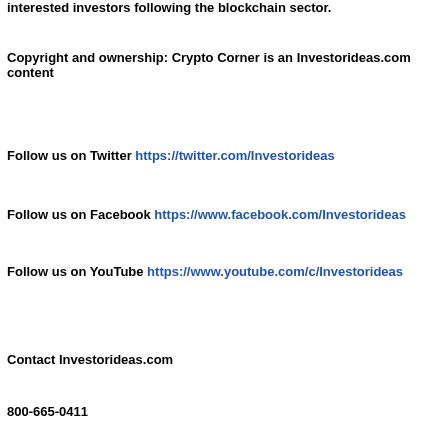interested investors following the blockchain sector.
Copyright and ownership: Crypto Corner is an Investorideas.com content
Follow us on Twitter https://twitter.com/Investorideas
Follow us on Facebook https://www.facebook.com/Investorideas
Follow us on YouTube https://www.youtube.com/c/Investorideas
Contact Investorideas.com
800-665-0411